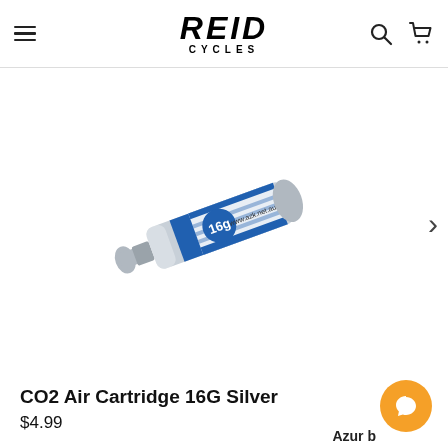REID CYCLES
[Figure (photo): A silver CO2 air cartridge 16G with a blue label showing '16g' and website www.azk.net.au]
CO2 Air Cartridge 16G Silver
$4.99